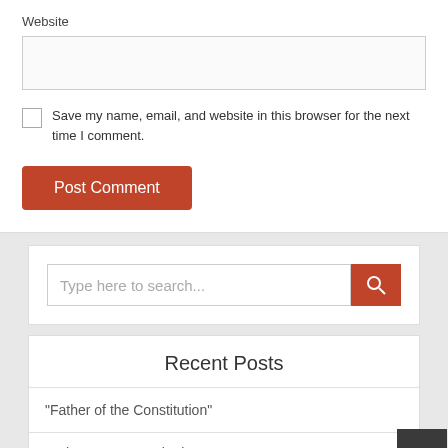Website
Save my name, email, and website in this browser for the next time I comment.
Post Comment
Type here to search...
Recent Posts
“Father of the Constitution”
Putin a man, a myth, the state...